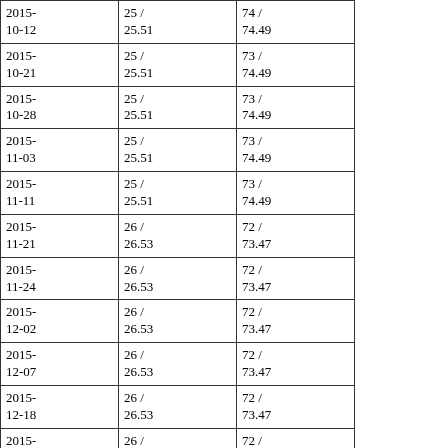| 2015-10-12 | 25 / 25.51 | 74 / 74.49 |
| 2015-10-21 | 25 / 25.51 | 73 / 74.49 |
| 2015-10-28 | 25 / 25.51 | 73 / 74.49 |
| 2015-11-03 | 25 / 25.51 | 73 / 74.49 |
| 2015-11-11 | 25 / 25.51 | 73 / 74.49 |
| 2015-11-21 | 26 / 26.53 | 72 / 73.47 |
| 2015-11-24 | 26 / 26.53 | 72 / 73.47 |
| 2015-12-02 | 26 / 26.53 | 72 / 73.47 |
| 2015-12-07 | 26 / 26.53 | 72 / 73.47 |
| 2015-12-18 | 26 / 26.53 | 72 / 73.47 |
| 2015-12-21 | 26 / 26.53 | 72 / 73.47 |
| 2015-12-23 | 26 / 26.53 | 72 / 73.47 |
| 2015-12-30 | 25 / 25.51 | 73 / 74.49 |
| 2016-01-14 | 26 / 26.53 | 72 / 73.47 |
| 2016-01-17 | 26 / 26.53 | 72 / 73.47 |
| 2016-... | 26 / ... | 72 / ... |